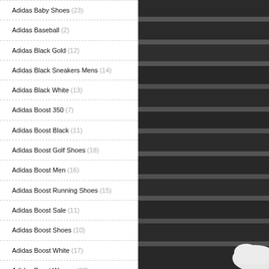Adidas Baby Shoes (23)
Adidas Baseball (2)
Adidas Black Gold (12)
Adidas Black Sneakers Mens (14)
Adidas Black White (13)
Adidas Boost 350 (7)
Adidas Boost Black (11)
Adidas Boost Golf Shoes (18)
Adidas Boost Men (16)
Adidas Boost Running Shoes (15)
Adidas Boost Sale (11)
Adidas Boost Shoes (10)
Adidas Boost White (17)
Adidas Boost Women (22)
Adidas Boots Mens (17)
Adidas Boots Womens (17)
[Figure (photo): Black and white photo of dark stepped/ridged surface (possibly stairs or corrugated material) with a partial view of a white shoe sole in the lower right corner]